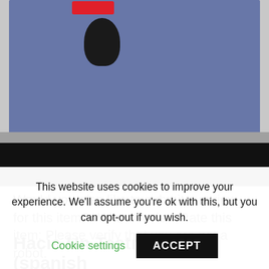[Figure (screenshot): Screenshot of a video showing a person doing gymnastics/exercise on a blue mat in a gym. A red button is visible at the top. The bottom of the video has a black bar (player controls area).]
Would you also like to submit a review for this item? Write a review Rate this item: Please verify that you are not a robot.
Hacia Un Teatro Pobre (spanish
This website uses cookies to improve your experience. We'll assume you're ok with this, but you can opt-out if you wish.
Cookie settings   ACCEPT